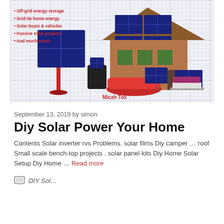[Figure (illustration): Book cover or promotional illustration showing a house with solar panels on the roof, a standalone solar panel array on a pole, a solar-powered boat, a backpack with small solar panel, portable solar panels connected to a laptop, on a grid paper background. Red bullet list text: Off-grid energy storage, Grid-tie home energy, Solar boats & vehicles, Passive solar projects, And much more! Author credit: Micah Toll]
September 13, 2019 by simon
Diy Solar Power Your Home
Contents Solar inverter rvs Problems. solar films Diy camper … roof Small scale bench-top projects . solar panel kits Diy Home Solar Setup Diy Home … Read more
DIY Sol…